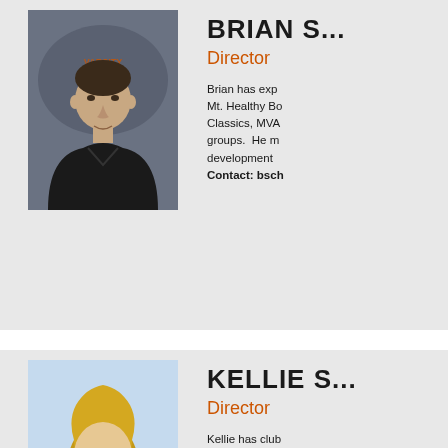[Figure (photo): Headshot of Brian S., a man in a dark polo shirt in front of a volleyball backdrop]
BRIAN S
Director
Brian has exp Mt. Healthy Bo Classics, MVA groups. He m development Contact: bsch
[Figure (photo): Headshot of Kellie S., a blonde woman smiling, professional portrait]
KELLIE S
Director
Kellie has club the 14s, 15s,...